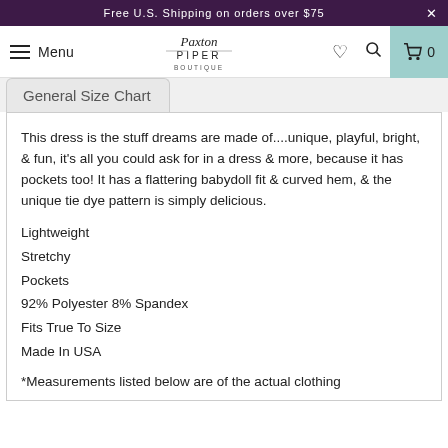Free U.S. Shipping on orders over $75
Menu  Paxton Piper Boutique  0
General Size Chart
This dress is the stuff dreams are made of....unique, playful, bright, & fun, it's all you could ask for in a dress & more, because it has pockets too! It has a flattering babydoll fit & curved hem, & the unique tie dye pattern is simply delicious.
Lightweight
Stretchy
Pockets
92% Polyester 8% Spandex
Fits True To Size
Made In USA
*Measurements listed below are of the actual clothing